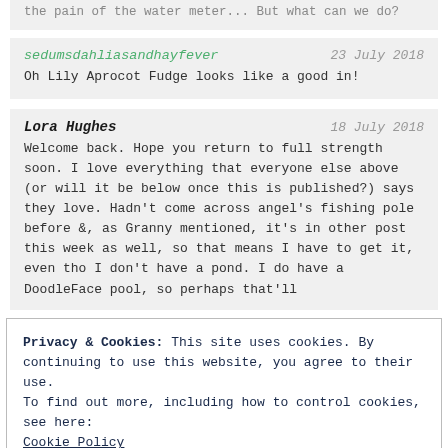the pain of the water meter... But what can we do?
sedumsdahliasandhayfever
23 July 2018
Oh Lily Aprocot Fudge looks like a good in!
Lora Hughes
18 July 2018
Welcome back. Hope you return to full strength soon. I love everything that everyone else above (or will it be below once this is published?) says they love. Hadn't come across angel's fishing pole before &, as Granny mentioned, it's in other post this week as well, so that means I have to get it, even tho I don't have a pond. I do have a DoodleFace pool, so perhaps that'll
Privacy & Cookies: This site uses cookies. By continuing to use this website, you agree to their use.
To find out more, including how to control cookies, see here:
Cookie Policy
Close and accept
incessant heat is slowing me down more than the